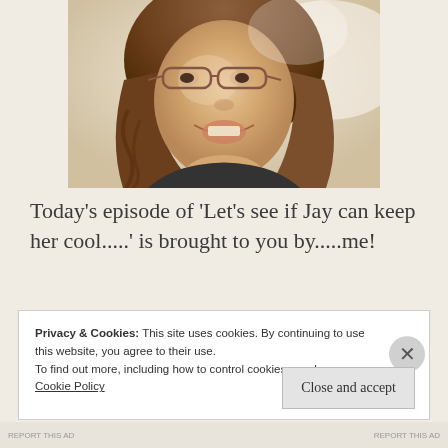[Figure (photo): Close-up photo of a smiling woman with glasses and brown curly hair, wearing a dark strap top, photographed from slightly above]
Today's episode of ‘Let’s see if Jay can keep her cool.....’ is brought to you by.....me!
Privacy & Cookies: This site uses cookies. By continuing to use this website, you agree to their use.
To find out more, including how to control cookies, see here:
Cookie Policy
Close and accept